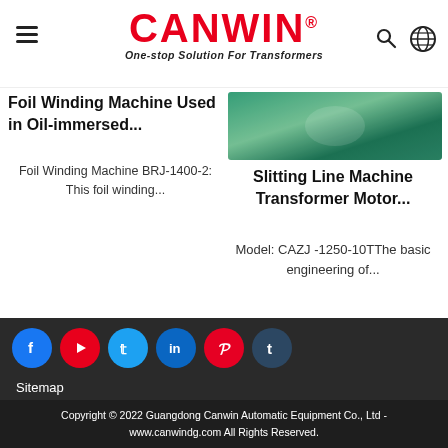CANWIN® One-stop Solution For Transformers
Foil Winding Machine Used in Oil-immersed...
Foil Winding Machine BRJ-1400-2: This foil winding...
Slitting Line Machine Transformer Motor...
Model: CAZJ -1250-10TThe basic engineering of...
Sitemap
Copyright © 2022 Guangdong Canwin Automatic Equipment Co., Ltd - www.canwindg.com All Rights Reserved.
Share
Send Inquiry
Chat Now